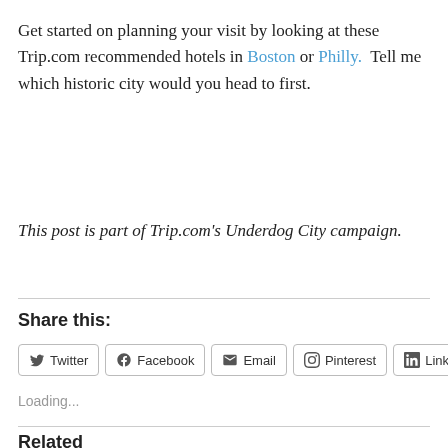Get started on planning your visit by looking at these Trip.com recommended hotels in Boston or Philly.  Tell me which historic city would you head to first.
This post is part of Trip.com's Underdog City campaign.
Share this:
Twitter  Facebook  Email  Pinterest  LinkedIn
Loading...
Related